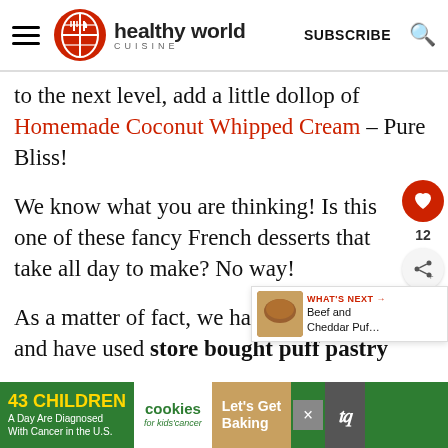healthy world cuisine - SUBSCRIBE
to the next level, add a little dollop of Homemade Coconut Whipped Cream – Pure Bliss!
We know what you are thinking! Is this one of these fancy French desserts that take all day to make? No way!
As a matter of fact, we have cut and have used store bought puff pastry
[Figure (screenshot): What's Next promotional box showing Beef and Cheddar Puf...]
[Figure (screenshot): Advertisement banner: 43 Children A Day Are Diagnosed With Cancer in the U.S. - cookies for kids cancer - Let's Get Baking]